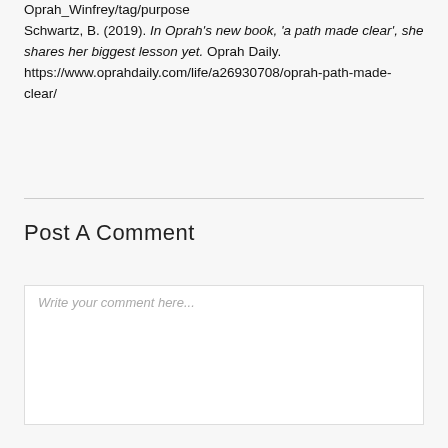Oprah_Winfrey/tag/purpose
Schwartz, B. (2019). In Oprah's new book, 'a path made clear', she shares her biggest lesson yet. Oprah Daily. https://www.oprahdaily.com/life/a26930708/oprah-path-made-clear/
Post A Comment
Write your comment here...